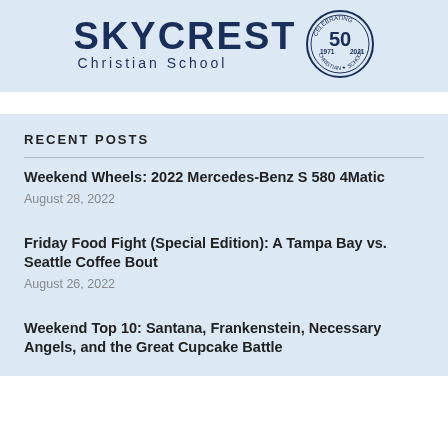[Figure (logo): Skycrest Christian School logo with 50th anniversary badge (1971-2021)]
RECENT POSTS
Weekend Wheels: 2022 Mercedes-Benz S 580 4Matic
August 28, 2022
Friday Food Fight (Special Edition): A Tampa Bay vs. Seattle Coffee Bout
August 26, 2022
Weekend Top 10: Santana, Frankenstein, Necessary Angels, and the Great Cupcake Battle